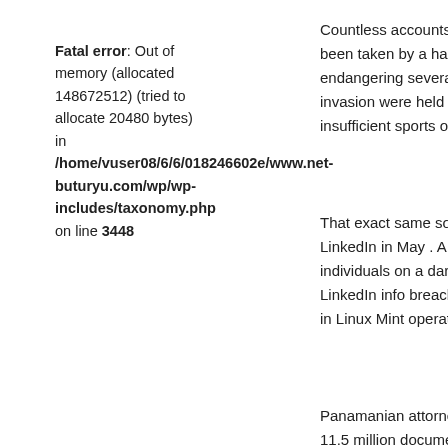Fatal error: Out of memory (allocated 148672512) (tried to allocate 20480 bytes) in /home/vuser08/6/6/018246602e/www.net-buturyu.com/wp/wp-includes/taxonomy.php on line 3448
Countless accounts for... been taken by a hacker... endangering several m... invasion were held in 2... insufficient sports on th...
5. LinkedIn
That exact same social... LinkedIn in May . A Rus... individuals on a dark on... LinkedIn info breaches,... in Linux Mint operating...
6. Mossack F
Panamanian attorney M... 11.5 million documents... records, 3 million collec... behind it – stay confusi... places and territories o...